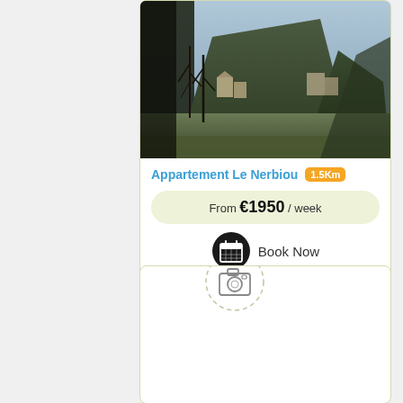[Figure (photo): Outdoor mountain landscape with trees and buildings at base of hill, taken at dusk/evening]
Appartement Le Nerbiou 1.5Km
From €1950 / week
Book Now
[Figure (other): Card with camera icon and location pin icon, placeholder content area]